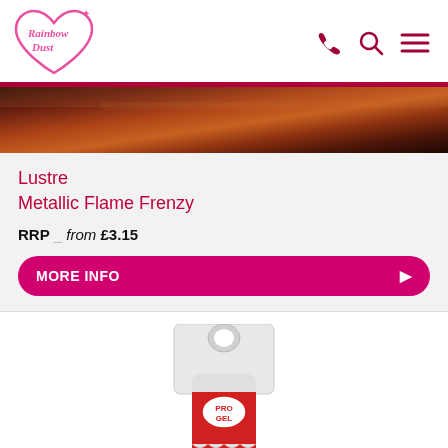[Figure (logo): Rainbow Dust logo - pink heart shape with cursive text]
[Figure (illustration): Navigation icons: phone, search, hamburger menu in dark pink/maroon]
[Figure (photo): Metallic brown/copper lustre dust product color swatch strip]
Lustre Metallic Flame Frenzy
RRP — from £3.15
MORE INFO
[Figure (photo): ProGel Concentrated food colour tube with red label and white hanger packaging]